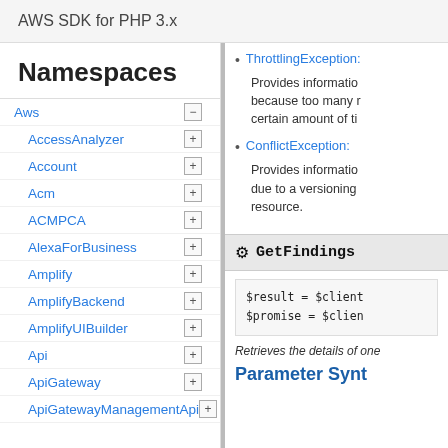AWS SDK for PHP 3.x
Namespaces
Aws
AccessAnalyzer
Account
Acm
ACMPCA
AlexaForBusiness
Amplify
AmplifyBackend
AmplifyUIBuilder
Api
ApiGateway
ApiGatewayManagementApi
ThrottlingException:
Provides information because too many r certain amount of ti
ConflictException:
Provides information due to a versioning resource.
GetFindings
$result = $client
$promise = $clien
Retrieves the details of one
Parameter Synt